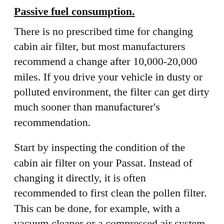Passive fuel consumption.
There is no prescribed time for changing cabin air filter, but most manufacturers recommend a change after 10,000-20,000 miles. If you drive your vehicle in dusty or polluted environment, the filter can get dirty much sooner than manufacturer's recommendation.
Start by inspecting the condition of the cabin air filter on your Passat. Instead of changing it directly, it is often recommended to first clean the pollen filter. This can be done, for example, with a vacuum cleaner or a compressed air system, removing at least a large part of the visible dirt particles. Unfortunately, this procedure does not allow